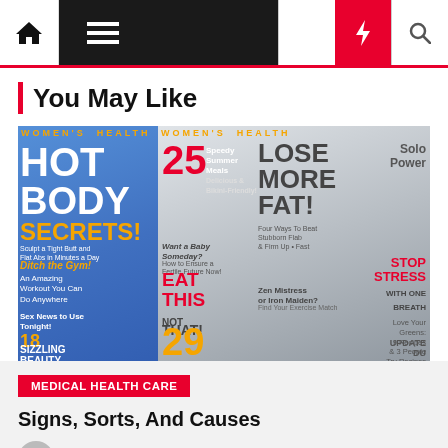Navigation bar with home, menu, dark mode, bolt, and search icons
You May Like
[Figure (photo): Collage of Women's Health magazine covers featuring headlines: HOT BODY SECRETS!, 25 Speedy Summer Meals, LOSE MORE FAT!, EAT THIS NOT THAT!, 29, Solo Power, STOP STRESS WITH ONE BREATH, and fashion/health model photos]
MEDICAL HEALTH CARE
Signs, Sorts, And Causes
Khalifi Zunberg  2 years ago